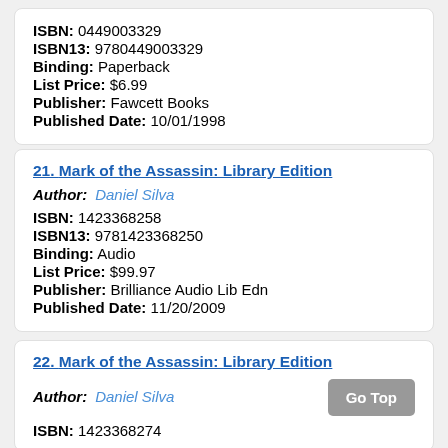ISBN: 0449003329
ISBN13: 9780449003329
Binding: Paperback
List Price: $6.99
Publisher: Fawcett Books
Published Date: 10/01/1998
21. Mark of the Assassin: Library Edition
Author: Daniel Silva
ISBN: 1423368258
ISBN13: 9781423368250
Binding: Audio
List Price: $99.97
Publisher: Brilliance Audio Lib Edn
Published Date: 11/20/2009
22. Mark of the Assassin: Library Edition
Author: Daniel Silva
ISBN: 1423368274